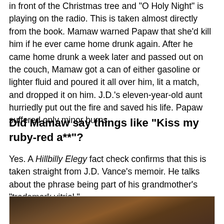in front of the Christmas tree and "O Holy Night" is playing on the radio. This is taken almost directly from the book. Mamaw warned Papaw that she'd kill him if he ever came home drunk again. After he came home drunk a week later and passed out on the couch, Mamaw got a can of either gasoline or lighter fluid and poured it all over him, lit a match, and dropped it on him. J.D.'s eleven-year-old aunt hurriedly put out the fire and saved his life. Papaw suffered only minor burns.
Did Mamaw say things like "Kiss my ruby-red a**"?
Yes. A Hillbilly Elegy fact check confirms that this is taken straight from J.D. Vance's memoir. He talks about the phrase being part of his grandmother's "trademark vitriol."
[Figure (photo): A dark photograph showing a person, partially visible at the bottom of the page.]